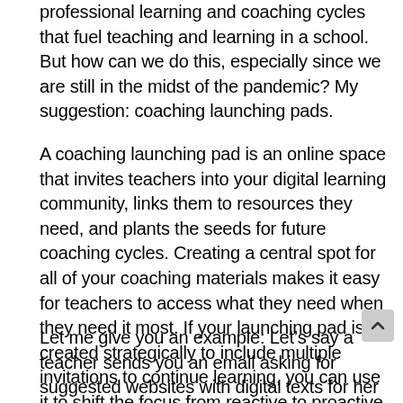professional learning and coaching cycles that fuel teaching and learning in a school. But how can we do this, especially since we are still in the midst of the pandemic? My suggestion: coaching launching pads.
A coaching launching pad is an online space that invites teachers into your digital learning community, links them to resources they need, and plants the seeds for future coaching cycles. Creating a central spot for all of your coaching materials makes it easy for teachers to access what they need when they need it most. If your launching pad is created strategically to include multiple invitations to continue learning, you can use it to shift the focus from reactive to proactive coaching!
Let me give you an example: Let’s say a teacher sends you an email asking for suggested websites with digital texts for her students. You respond with a link to a Padlet wall on your launching pad. She heads